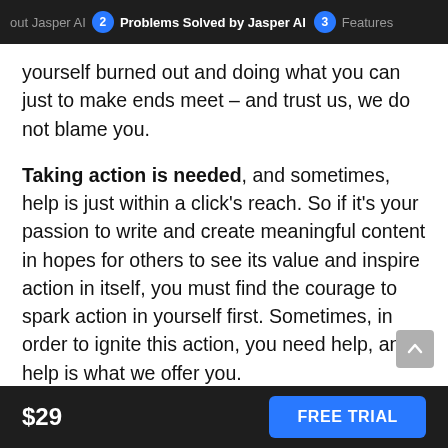out Jasper AI  2  Problems Solved by Jasper AI  3  Features
yourself burned out and doing what you can just to make ends meet – and trust us, we do not blame you.
Taking action is needed, and sometimes, help is just within a click's reach. So if it's your passion to write and create meaningful content in hopes for others to see its value and inspire action in itself, you must find the courage to spark action in yourself first. Sometimes, in order to ignite this action, you need help, and help is what we offer you.
$29  FREE TRIAL